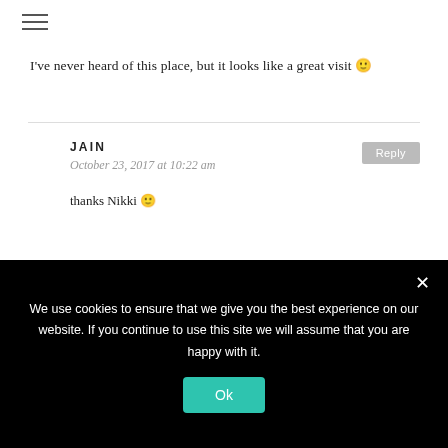≡
I've never heard of this place, but it looks like a great visit 🙂
JAIN
October 23, 2017 at 10:22 am
thanks Nikki 🙂
LEAVE A REPLY
We use cookies to ensure that we give you the best experience on our website. If you continue to use this site we will assume that you are happy with it.